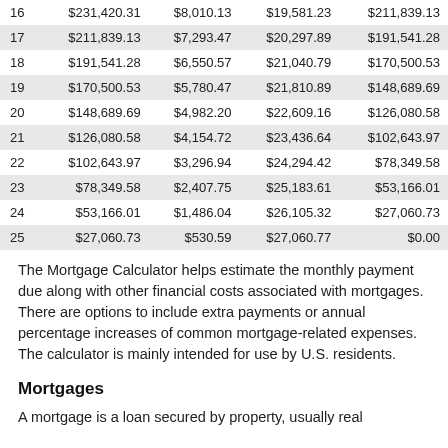|  | Beginning Balance | Interest | Principal | Ending Balance |
| --- | --- | --- | --- | --- |
| 16 | $231,420.31 | $8,010.13 | $19,581.23 | $211,839.13 |
| 17 | $211,839.13 | $7,293.47 | $20,297.89 | $191,541.28 |
| 18 | $191,541.28 | $6,550.57 | $21,040.79 | $170,500.53 |
| 19 | $170,500.53 | $5,780.47 | $21,810.89 | $148,689.69 |
| 20 | $148,689.69 | $4,982.20 | $22,609.16 | $126,080.58 |
| 21 | $126,080.58 | $4,154.72 | $23,436.64 | $102,643.97 |
| 22 | $102,643.97 | $3,296.94 | $24,294.42 | $78,349.58 |
| 23 | $78,349.58 | $2,407.75 | $25,183.61 | $53,166.01 |
| 24 | $53,166.01 | $1,486.04 | $26,105.32 | $27,060.73 |
| 25 | $27,060.73 | $530.59 | $27,060.77 | $0.00 |
The Mortgage Calculator helps estimate the monthly payment due along with other financial costs associated with mortgages. There are options to include extra payments or annual percentage increases of common mortgage-related expenses. The calculator is mainly intended for use by U.S. residents.
Mortgages
A mortgage is a loan secured by property, usually real